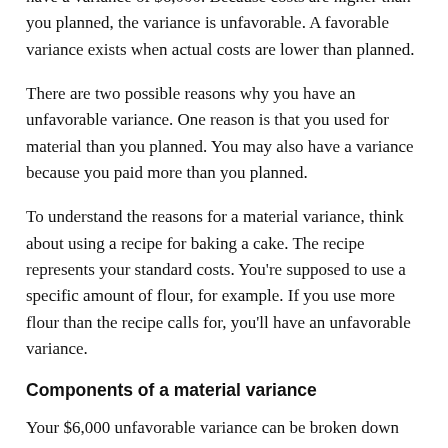have a variance of $6,000. Because costs are higher than you planned, the variance is unfavorable. A favorable variance exists when actual costs are lower than planned.
There are two possible reasons why you have an unfavorable variance. One reason is that you used for material than you planned. You may also have a variance because you paid more than you planned.
To understand the reasons for a material variance, think about using a recipe for baking a cake. The recipe represents your standard costs. You're supposed to use a specific amount of flour, for example. If you use more flour than the recipe calls for, you'll have an unfavorable variance.
Components of a material variance
Your $6,000 unfavorable variance can be broken down into a price variance and an efficiency variance. Here are the formulas